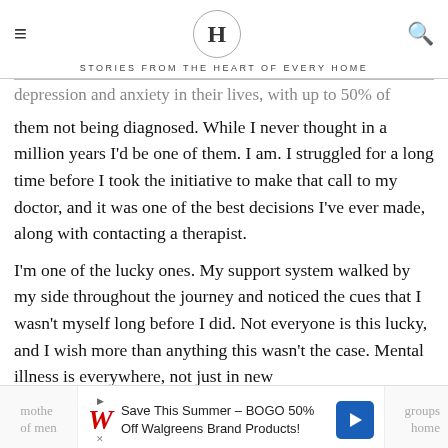H — STORIES FROM THE HEART OF EVERY HOME
depression and anxiety in their lives, with up to 50% of them not being diagnosed. While I never thought in a million years I'd be one of them. I am. I struggled for a long time before I took the initiative to make that call to my doctor, and it was one of the best decisions I've ever made, along with contacting a therapist.
I'm one of the lucky ones. My support system walked by my side throughout the journey and noticed the cues that I wasn't myself long before I did. Not everyone is this lucky, and I wish more than anything this wasn't the case. Mental illness is everywhere, not just in new mothe[rs] ... groups of men[...] home
[Figure (screenshot): Advertisement banner: Save This Summer - BOGO 50% Off Walgreens Brand Products! with Walgreens logo and navigation arrow icon]